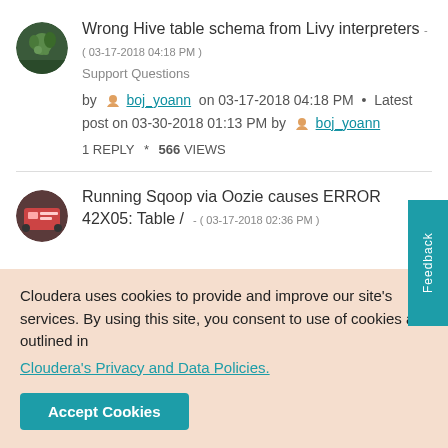Wrong Hive table schema from Livy interpreters - ( 03-17-2018 04:18 PM )
Support Questions
by boj_yoann on 03-17-2018 04:18 PM • Latest post on 03-30-2018 01:13 PM by boj_yoann
1 REPLY * 566 VIEWS
Running Sqoop via Oozie causes ERROR 42X05: Table / - ( 03-17-2018 02:36 PM )
Cloudera uses cookies to provide and improve our site's services. By using this site, you consent to use of cookies as outlined in Cloudera's Privacy and Data Policies.
Accept Cookies